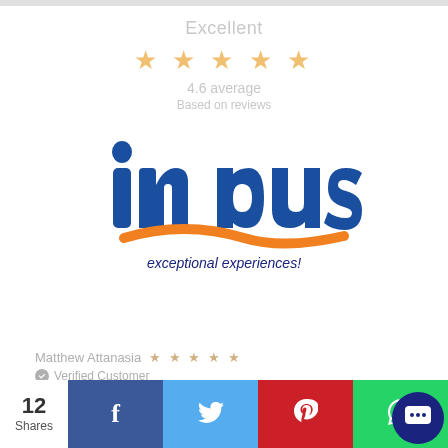[Figure (logo): Indus 'exceptional experiences!' logo — blue stylized 'indus' text with orange swoosh underneath, tagline 'exceptional experiences!' in dark blue]
Excellent
★ ★ ★ ★ ★
4.6 average
Based on reviews
Matthew Attanasia ★ ★ ★ ★ ★
✓ Verified Customer
Please see above.
2 WEEKS ago
12 Shares